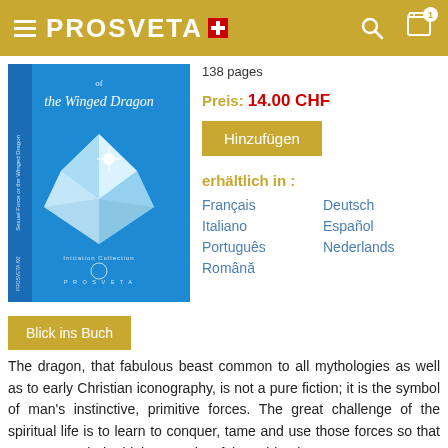PROSVETA
[Figure (photo): Book cover of 'Sexual Force or the Winged Dragon' published by Prosveta, blue cover with diamond/crystal image]
138 pages
Preis: 14.00 CHF
Hinzufügen
erhältlich in :
Français
Deutsch
Italiano
Español
Português
Nederlands
Română
Blick ins Buch
The dragon, that fabulous beast common to all mythologies as well as to early Christian iconography, is not a pure fiction; it is the symbol of man's instinctive, primitive forces. The great challenge of the spiritual life is to learn to conquer, tame and use those forces so that we may reach the highest peaks of the spirit. The